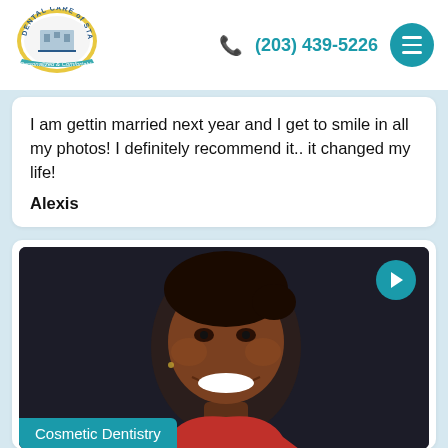[Figure (logo): Dental Care of Stamford logo - circular badge with building illustration and banner reading Personalized & Comfortable]
(203) 439-5226
I am gettin married next year and I get to smile in all my photos! I definitely recommend it.. it changed my life!
Alexis
[Figure (photo): Smiling woman with teeth showing, dark background, wearing red top. Teal overlay label at bottom reads Cosmetic Dentistry. Play button in top right corner.]